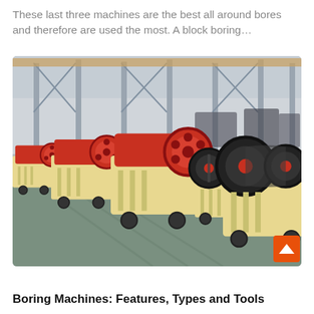These last three machines are the best all around bores and therefore are used the most. A block boring…
[Figure (photo): Industrial factory floor showing multiple large yellow and red jaw crusher machines lined up in rows inside a large steel-framed warehouse facility]
Boring Machines: Features, Types and Tools